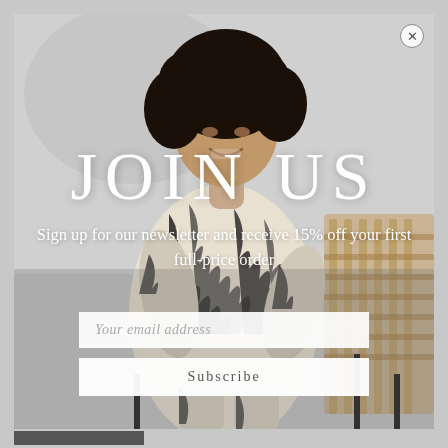[Figure (photo): Fashion photo of a smiling woman with curly hair wearing a black and white zebra-print outfit, sitting on a wicker chair against a light grey background. Large white text overlay reads JOIN US with newsletter signup description.]
JOIN US
Sign up for our newsletter and receive 15% off your first full-price order
Your email address
Subscribe